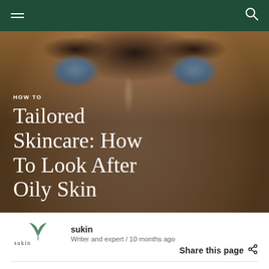Navigation bar with hamburger menu and search icon
[Figure (photo): Close-up of a person's face with blue eyes and oily/normal skin tone, serving as hero image background for skincare article]
HOW TO
Tailored Skincare: How To Look After Oily Skin
sukin
Writer and expert / 10 months ago
Share this page